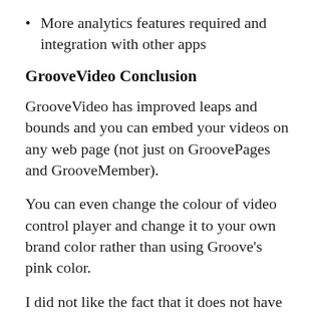More analytics features required and integration with other apps
GrooveVideo Conclusion
GrooveVideo has improved leaps and bounds and you can embed your videos on any web page (not just on GroovePages and GrooveMember).
You can even change the colour of video control player and change it to your own brand color rather than using Groove’s pink color.
I did not like the fact that it does not have